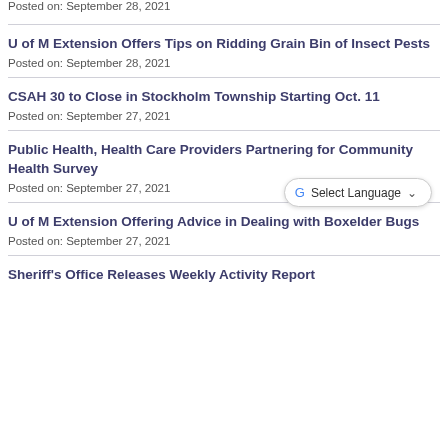Posted on: September 28, 2021
U of M Extension Offers Tips on Ridding Grain Bin of Insect Pests
Posted on: September 28, 2021
CSAH 30 to Close in Stockholm Township Starting Oct. 11
Posted on: September 27, 2021
Public Health, Health Care Providers Partnering for Community Health Survey
Posted on: September 27, 2021
U of M Extension Offering Advice in Dealing with Boxelder Bugs
Posted on: September 27, 2021
Sheriff's Office Releases Weekly Activity Report